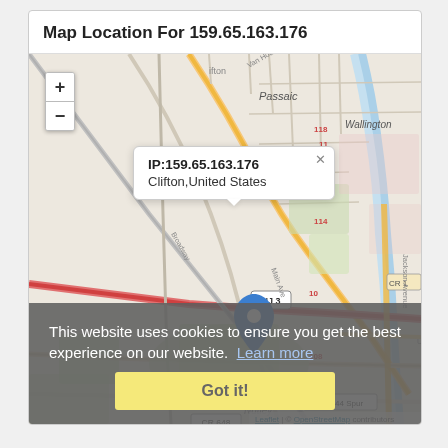Map Location For 159.65.163.176
[Figure (map): OpenStreetMap showing location in Clifton, New Jersey, United States. A blue pin marker is placed at the IP location with a popup showing IP:159.65.163.176 and Clifton,United States. Zoom controls (+/-) visible top-left. Map shows surrounding area including Passaic, Wallington, Nutley, NJ 3, CR 6, CR 644 Spur, CR 648, and various roads.]
This website uses cookies to ensure you get the best experience on our website.  Learn more
Got it!
Leaflet | © OpenStreetMap contributors